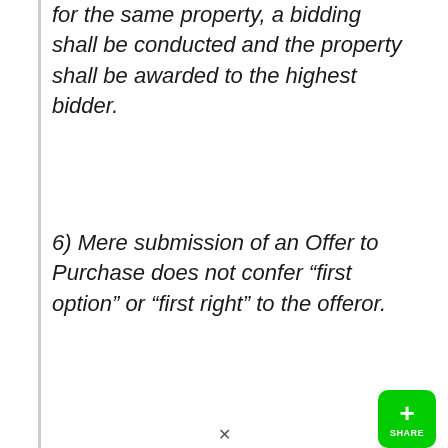for the same property, a bidding shall be conducted and the property shall be awarded to the highest bidder.
6) Mere submission of an Offer to Purchase does not confer “first option” or “first right” to the offeror.